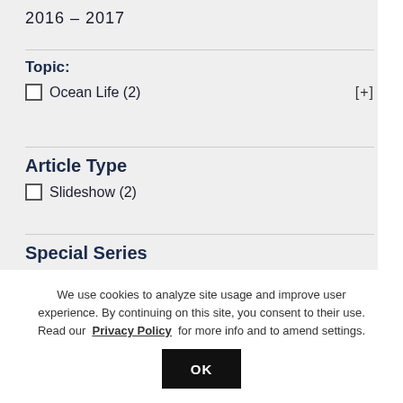2016 – 2017
Topic:
Ocean Life (2)  [+]
Article Type
Slideshow (2)
Special Series
We use cookies to analyze site usage and improve user experience. By continuing on this site, you consent to their use. Read our Privacy Policy for more info and to amend settings.